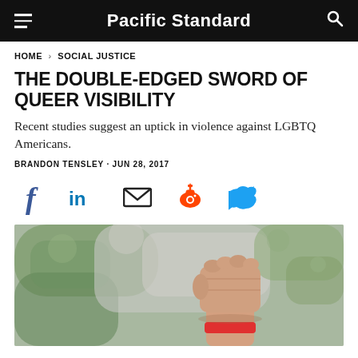Pacific Standard
HOME > SOCIAL JUSTICE
THE DOUBLE-EDGED SWORD OF QUEER VISIBILITY
Recent studies suggest an uptick in violence against LGBTQ Americans.
BRANDON TENSLEY · JUN 28, 2017
[Figure (other): Social media sharing icons: Facebook, LinkedIn, Email, Reddit, Twitter]
[Figure (photo): A raised fist with a red wristband against a blurred green and grey outdoor background, symbolizing protest or solidarity.]